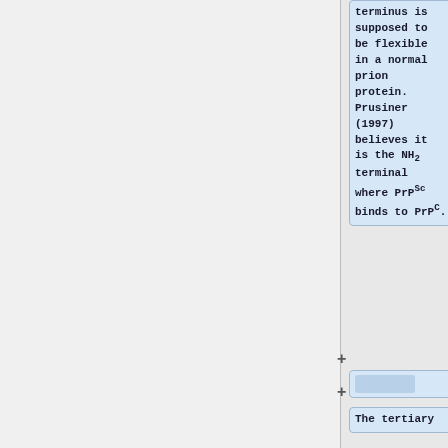terminus is supposed to be flexible in a normal prion protein. Prusiner (1997) believes it is the NH2 terminal where PrPSc binds to PrPC.
The tertiary